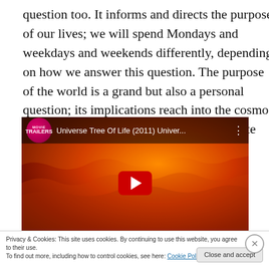question too. It informs and directs the purpose of our lives; we will spend Mondays and weekdays and weekends differently, depending on how we answer this question. The purpose of the world is a grand but also a personal question; its implications reach into the cosmos but also into our daily schedules and minute concerns.
[Figure (screenshot): YouTube video thumbnail showing 'Universe Tree Of Life (2011) Univer...' with a fiery cosmic background, YouTube play button, and TRAILERS channel badge.]
Privacy & Cookies: This site uses cookies. By continuing to use this website, you agree to their use.
To find out more, including how to control cookies, see here: Cookie Policy